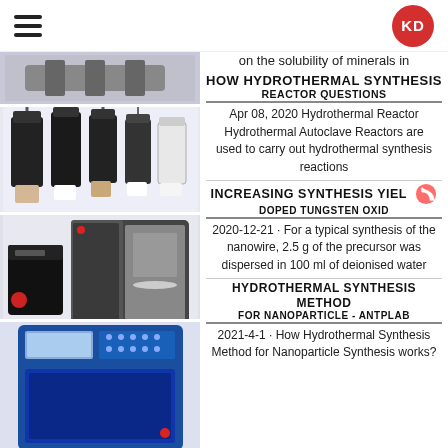KD (logo)
on the solubility of minerals in
HOW HYDROTHERMAL SYNTHESIS REACTOR QUESTIONS
Apr 08, 2020 Hydrothermal Reactor Hydrothermal Autoclave Reactors are used to carry out hydrothermal synthesis reactions
INCREASING SYNTHESIS YIELD DOPED TUNGSTEN OXID
2020-12-21 · For a typical synthesis of the nanowire, 2.5 g of the precursor was dispersed in 100 ml of deionised water
HYDROTHERMAL SYNTHESIS METHOD FOR NANOPARTICLE - ANTPLAB
2021-4-1 · How Hydrothermal Synthesis Method for Nanoparticle Synthesis works?
[Figure (photo): Laboratory hydrothermal autoclave reactors - cylindrical metal vessels with lids and white/beige inner liners]
[Figure (photo): Laboratory equipment including a small device and an open oven/furnace]
[Figure (photo): Blue laboratory hydrothermal synthesis oven/reactor equipment]